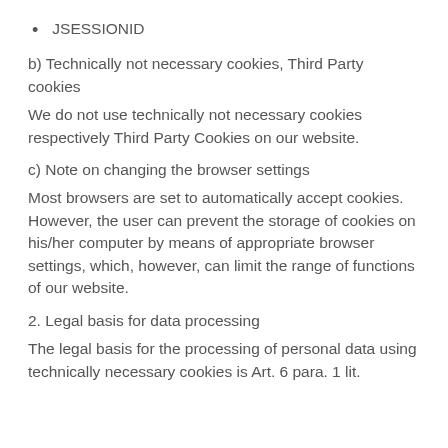JSESSIONID
b) Technically not necessary cookies, Third Party cookies
We do not use technically not necessary cookies respectively Third Party Cookies on our website.
c) Note on changing the browser settings
Most browsers are set to automatically accept cookies. However, the user can prevent the storage of cookies on his/her computer by means of appropriate browser settings, which, however, can limit the range of functions of our website.
2. Legal basis for data processing
The legal basis for the processing of personal data using technically necessary cookies is Art. 6 para. 1 lit.